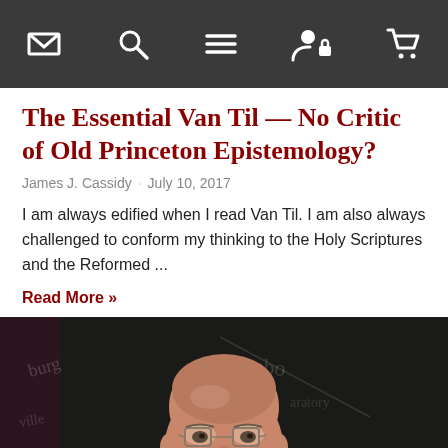Navigation bar with icons: envelope, search, menu, user/lock, cart
The Essential Van Til — No Critic of Old Princeton Epistemology?
James J. Cassidy · July 10, 2017
I am always edified when I read Van Til. I am also always challenged to conform my thinking to the Holy Scriptures and the Reformed ...
Read More »
[Figure (photo): Portrait painting of an older bald man wearing glasses, a dark suit, white shirt and navy tie, painted against a dark chalkboard background with chalk writing visible.]